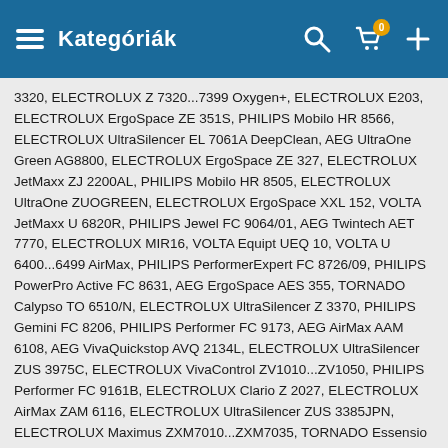Kategóriák
3320, ELECTROLUX Z 7320...7399 Oxygen+, ELECTROLUX E203, ELECTROLUX ErgoSpace ZE 351S, PHILIPS Mobilo HR 8566, ELECTROLUX UltraSilencer EL 7061A DeepClean, AEG UltraOne Green AG8800, ELECTROLUX ErgoSpace ZE 327, ELECTROLUX JetMaxx ZJ 2200AL, PHILIPS Mobilo HR 8505, ELECTROLUX UltraOne ZUOGREEN, ELECTROLUX ErgoSpace XXL 152, VOLTA JetMaxx U 6820R, PHILIPS Jewel FC 9064/01, AEG Twintech AET 7770, ELECTROLUX MIR16, VOLTA Equipt UEQ 10, VOLTA U 6400...6499 AirMax, PHILIPS PerformerExpert FC 8726/09, PHILIPS PowerPro Active FC 8631, AEG ErgoSpace AES 355, TORNADO Calypso TO 6510/N, ELECTROLUX UltraSilencer Z 3370, PHILIPS Gemini FC 8206, PHILIPS Performer FC 9173, AEG AirMax AAM 6108, AEG VivaQuickstop AVQ 2134L, ELECTROLUX UltraSilencer ZUS 3975C, ELECTROLUX VivaControl ZV1010...ZV1050, PHILIPS Performer FC 9161B, ELECTROLUX Clario Z 2027, ELECTROLUX AirMax ZAM 6116, ELECTROLUX UltraSilencer ZUS 3385JPN, ELECTROLUX Maximus ZXM7010...ZXM7035, TORNADO Essensio TO 5410, PHILIPS Mobilo HR 8570E, ELECTROLUX UltraSilencer USPARKETTO, ELECTROLUX XXM 000...999 Maximus, ELECTROLUX E18, ELECTROLUX CycloneXL ZCX 6450, ZANUSSI ZAN 3630, ELECTROLUX ErgoSpace ZE 346BCNM, PHILIPS PowerLife FC 8450, PHILIPS Mobilo HR 8556, AEG UltraSilencer AUSG 3901UK DUSTPRO, AEG QSElegance AVQ2220...AVQ2250, ELECTROLUX ErgoSpace ZE 320A, ELECTROLUX JetMaxx JMGREEN, PHILIPS Mobilo HR 8500, ELECTROLUX UltraOne ZUO 9928P, ELECTROLUX ErgoSpace XXL 120, VOLTA Bolido U 4500...4595, ELECTROLUX VivaQuickStop ZVQ 2104, PHILIPS Jewel FC 9061/01, ELECTROLUX TwinClean Z 8225, AEG Equipt AEQ 35CH, PHILIPS PerformerActive FC 8660, PROGRESS PC 3626, SATRAP Aspira 1800 King, ELECTROLUX UltraOne ZUOANIMAL+, PHILIPS Expression FC 8614, PHILIPS FC 8392, PHILIPS Performer FC 9153, PHILIPS SilentStar FC 9319, ELECTROLUX UltraSilencer Z 3695D, AEG UltraSilencer AUS 8090, PHILIPS